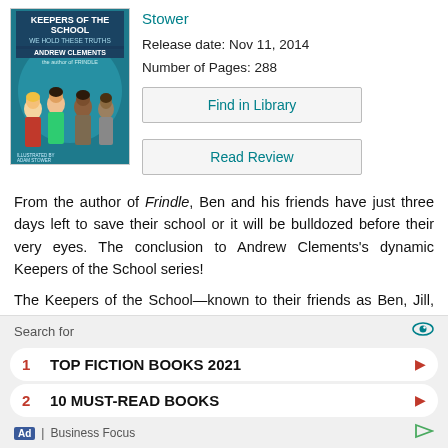[Figure (illustration): Book cover of 'Keepers of the School: We Hold These Truths' by Andrew Clements, illustrated by Adam Stower. Shows four children on a teal/blue globe background.]
Stower
Release date: Nov 11, 2014
Number of Pages: 288
Find in Library
Read Review
From the author of Frindle, Ben and his friends have just three days left to save their school or it will be bulldozed before their very eyes. The conclusion to Andrew Clements's dynamic Keepers of the School series!
The Keepers of the School—known to their friends as Ben, Jill, and Robert—have one last chance to save their
Search for
1  TOP FICTION BOOKS 2021
2  10 MUST-READ BOOKS
Ad | Business Focus